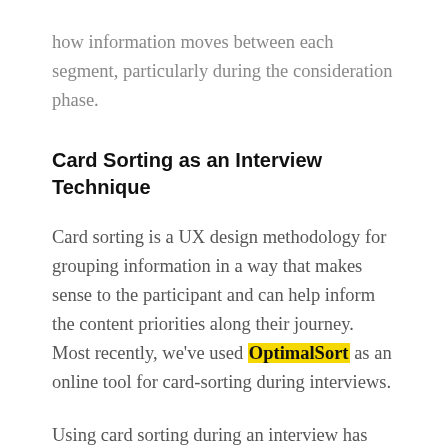how information moves between each segment, particularly during the consideration phase.
Card Sorting as an Interview Technique
Card sorting is a UX design methodology for grouping information in a way that makes sense to the participant and can help inform the content priorities along their journey. Most recently, we've used OptimalSort as an online tool for card-sorting during interviews.
Using card sorting during an interview has some distinct advantages. First, it helps